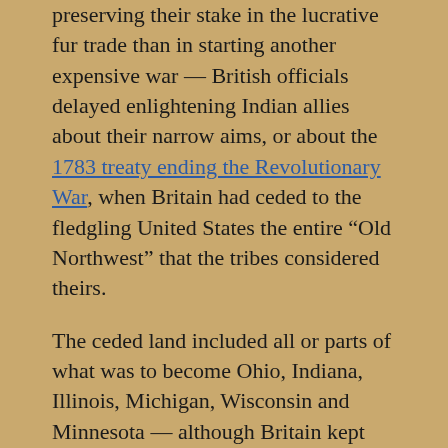preserving their stake in the lucrative fur trade than in starting another expensive war — British officials delayed enlightening Indian allies about their narrow aims, or about the 1783 treaty ending the Revolutionary War, when Britain had ceded to the fledgling United States the entire “Old Northwest” that the tribes considered theirs.
The ceded land included all or parts of what was to become Ohio, Indiana, Illinois, Michigan, Wisconsin and Minnesota — although Britain kept armed forts in the area, ostensibly to secure its fur-trading interests.
In this way, more than a quarter-million square miles of prairie, deciduous forests, rivers, swamplands and fertile land became the logical pathway for U.S. expansion — America’s